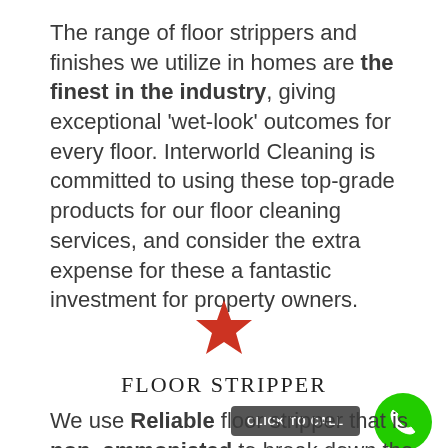The range of floor strippers and finishes we utilize in homes are the finest in the industry, giving exceptional 'wet-look' outcomes for every floor. Interworld Cleaning is committed to using these top-grade products for our floor cleaning services, and consider the extra expense for these a fantastic investment for property owners.
[Figure (illustration): A red/orange star icon centered on the page]
FLOOR STRIPPER
We use Reliable floor stripper that is non-ammoniated to break down the original